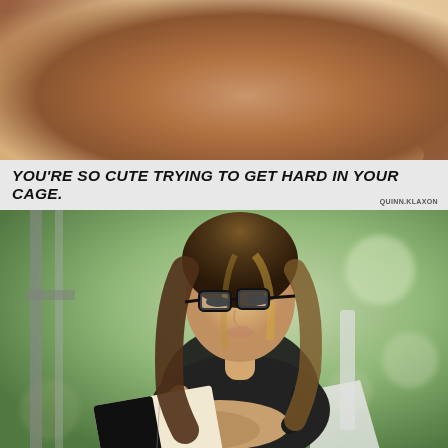[Figure (photo): Young woman lying down resting her chin on her hands, looking at the camera with a slight smile, wearing a white top, photographed in a glamour/portrait style with warm tones]
You're so cute trying to get hard in your cage.
QUINN.KLAXON
[Figure (photo): Young woman with long brown hair wearing glasses and a dark top, sitting on a white bench near a window, reading a book, with a blurred green outdoor background]